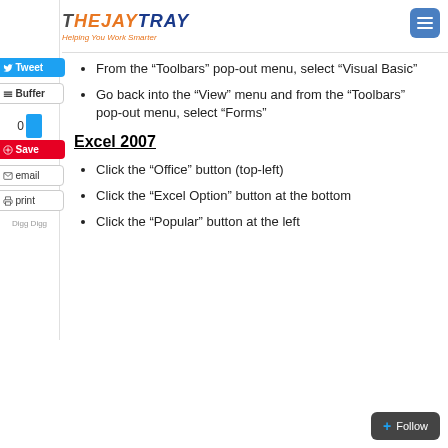THEJAYTRAY Helping You Work Smarter
From the “Toolbars” pop-out menu, select “Visual Basic”
Go back into the “View” menu and from the “Toolbars” pop-out menu, select “Forms”
Excel 2007
Click the “Office” button (top-left)
Click the “Excel Option” button at the bottom
Click the “Popular” button at the left